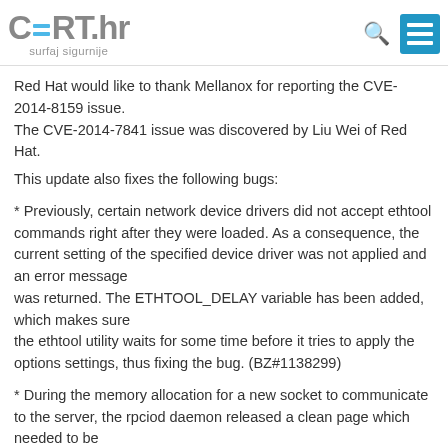CERT.hr surfaj sigurnije
Red Hat would like to thank Mellanox for reporting the CVE-2014-8159 issue.
The CVE-2014-7841 issue was discovered by Liu Wei of Red Hat.
This update also fixes the following bugs:
* Previously, certain network device drivers did not accept ethtool commands right after they were loaded. As a consequence, the current setting of the specified device driver was not applied and an error message
was returned. The ETHTOOL_DELAY variable has been added, which makes sure
the ethtool utility waits for some time before it tries to apply the options settings, thus fixing the bug. (BZ#1138299)
* During the memory allocation for a new socket to communicate to the server, the rpciod daemon released a clean page which needed to be